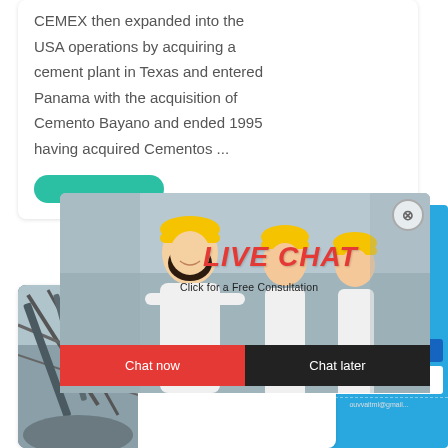CEMEX then expanded into the USA operations by acquiring a cement plant in Texas and entered Panama with the acquisition of Cemento Bayano and ended 1995 having acquired Cementos ...
[Figure (screenshot): Live chat popup overlay with workers in yellow hard hats, red 'LIVE CHAT' title, 'Click for a Free Consultation' text, and 'Chat now' / 'Chat later' buttons]
[Figure (screenshot): Right blue sidebar with 'hour online' text, industrial crusher machine image, 'Click me to chat>>' button, 'Enquiry' button, and email address]
[Figure (photo): Construction/mining site image on the left side of the bottom card]
WHITE CEP NEW LINES BUÑOL (SP
CEMEX BUÑOL (SPA Alfran carried out th